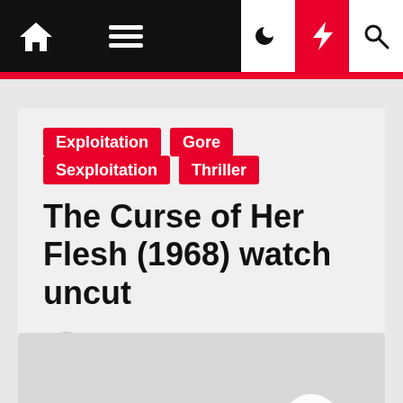Navigation bar with home, menu, moon, bolt, search icons
Exploitation
Gore
Sexploitation
Thriller
The Curse of Her Flesh (1968) watch uncut
MoCuishle  1 year ago
[Figure (other): Video thumbnail with play button]